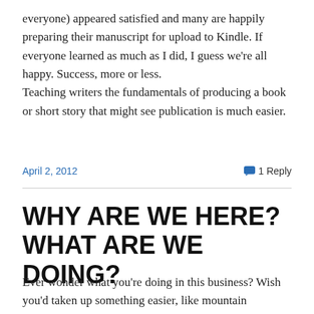everyone) appeared satisfied and many are happily preparing their manuscript for upload to Kindle. If everyone learned as much as I did, I guess we're all happy. Success, more or less.
Teaching writers the fundamentals of producing a book or short story that might see publication is much easier.
April 2, 2012
1 Reply
WHY ARE WE HERE? WHAT ARE WE DOING?
Ever wonder what you're doing in this business? Wish you'd taken up something easier, like mountain climbing or